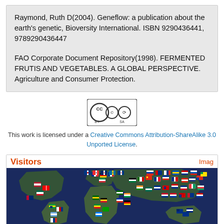Raymond, Ruth D(2004). Geneflow: a publication about the earth's genetic, Bioversity International. ISBN 9290436441, 9789290436447
FAO Corporate Document Repository(1998). FERMENTED FRUTIS AND VEGETABLES. A GLOBAL PERSPECTIVE. Agriculture and Consumer Protection.
[Figure (logo): Creative Commons Attribution-ShareAlike badge showing CC BY SA icons]
This work is licensed under a Creative Commons Attribution-ShareAlike 3.0 Unported License.
[Figure (map): Visitors world map widget showing flags of countries on a globe map with title 'Visitors' and 'Imag' label at top right]